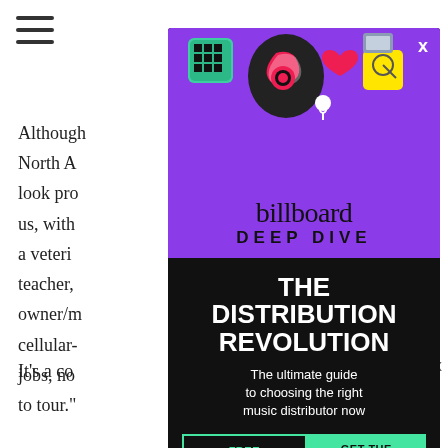[Figure (screenshot): Hamburger menu icon (three horizontal lines) in top left of webpage]
Although scale North A... doesn't look pro... 'All of us, with I've got a veteri... English teacher, owner/m... at a cellular-... mal jobs, no... it's hard to tour."
[Figure (advertisement): Billboard Deep Dive advertisement overlay. Purple top section with TikTok-themed icons and illustrations. Billboard logo and 'DEEP DIVE' headline. Black bottom section with 'THE DISTRIBUTION REVOLUTION' headline, subtext 'The ultimate guide to choosing the right music distributor now', and two buttons: 'FREE DOWNLOAD' and 'GET THE REPORT' in teal/green.]
It's a co... he
[Figure (advertisement): SPY TESTED & REVIEWED banner advertisement at bottom with yellow SPY logo]